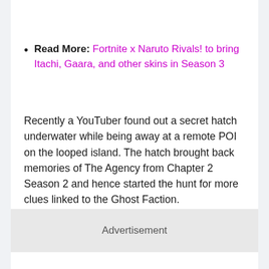Read More: Fortnite x Naruto Rivals! to bring Itachi, Gaara, and other skins in Season 3
Recently a YouTuber found out a secret hatch underwater while being away at a remote POI on the looped island. The hatch brought back memories of The Agency from Chapter 2 Season 2 and hence started the hunt for more clues linked to the Ghost Faction.
Advertisement